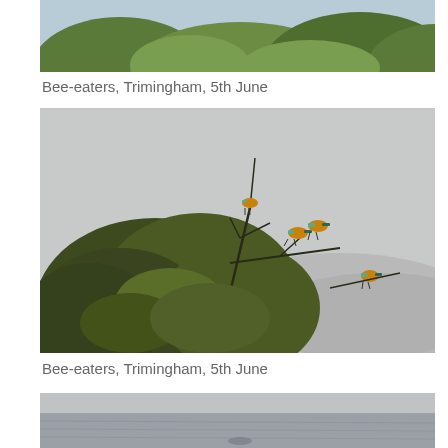[Figure (photo): Top portion of a photograph showing bee-eaters at Trimingham - treetops with green foliage against a light blue-grey sky, partially cropped at top of page]
Bee-eaters, Trimingham, 5th June
[Figure (photo): Photograph of bee-eaters perched on branches at the top of a bushy tree against a misty grey sky. Three or four colourful bee-eater birds visible on branches, with dense green-brown foliage below.]
Bee-eaters, Trimingham, 5th June
[Figure (photo): Bottom portion of a photograph partially visible - appears to show a grey water surface (sea or river) with a misty/foggy background, partially cropped at bottom of page]